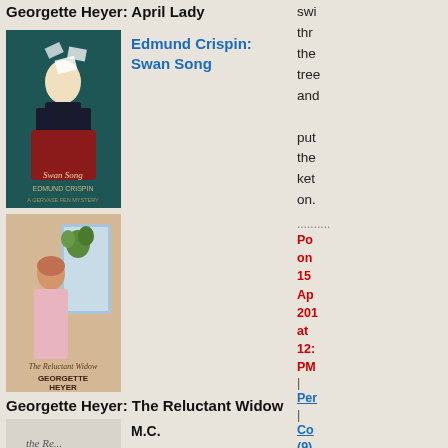Georgette Heyer: April Lady
[Figure (illustration): Book cover for Edmund Crispin: Swan Song, showing a man in formal attire with scattered papers, dark teal background]
Edmund Crispin: Swan Song
swi thr the tree and put the ket on.
[Figure (illustration): Book cover for Georgette Heyer: The Reluctant Widow, showing a woman in period dress near a window with plants]
Georgette Heyer: The Reluctant Widow
.......... Posted on 15 Apr 2013 at 12: PM | Permalink | Comments (9) | Trackback (0)
[Figure (logo): Google+ icon (blue circle with G)]
[Figure (logo): Twitter bird icon (blue)]
[Figure (illustration): Partial book cover at bottom left, showing handwritten title text]
M.C.